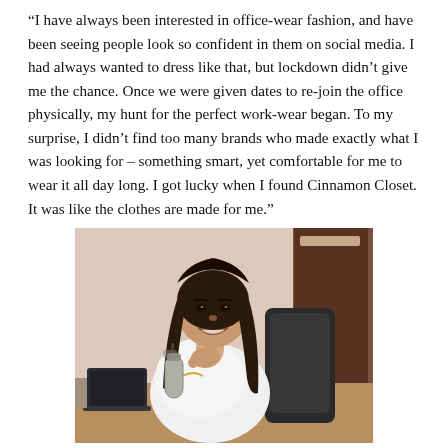“I have always been interested in office-wear fashion, and have been seeing people look so confident in them on social media. I had always wanted to dress like that, but lockdown didn’t give me the chance. Once we were given dates to re-join the office physically, my hunt for the perfect work-wear began. To my surprise, I didn’t find too many brands who made exactly what I was looking for – something smart, yet comfortable for me to wear it all day long. I got lucky when I found Cinnamon Closet. It was like the clothes are made for me.”
[Figure (photo): A young woman with long dark hair sits at a desk, smiling at the camera. She is wearing a white top and resting her chin on her hand. On the desk is a laptop, a water bottle, and other items. The background shows a room with a door.]